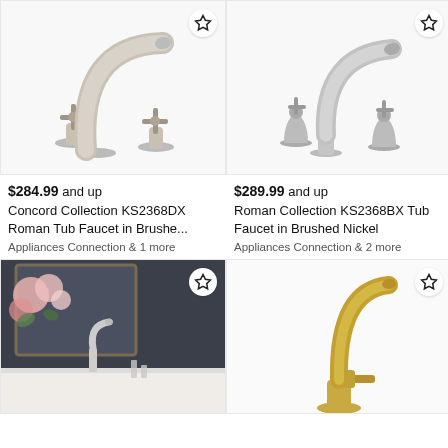[Figure (photo): Concord Collection brushed nickel roman tub faucet with two cross handles, product on white background]
[Figure (photo): Roman Collection brushed nickel roman tub faucet with two cross handles, product on white background]
$284.99 and up
Concord Collection KS2368DX Roman Tub Faucet in Brushe...
Appliances Connection & 1 more
$289.99 and up
Roman Collection KS2368BX Tub Faucet in Brushed Nickel
Appliances Connection & 2 more
[Figure (photo): Bathroom faucet in chrome finish installed on sink, dark wall background with flowers]
[Figure (photo): Gold/brass finished tall single-handle faucet, product on white background]